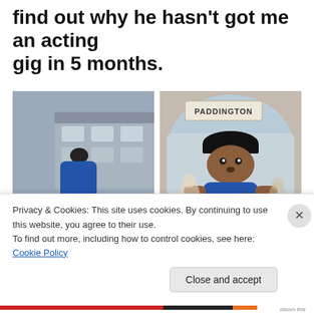find out why he hasn't got me an acting gig in 5 months.
[Figure (photo): Person in blue coat standing at a train platform with luggage]
[Figure (photo): Paddington Bear character at Paddington station sign]
Privacy & Cookies: This site uses cookies. By continuing to use this website, you agree to their use.
To find out more, including how to control cookies, see here: Cookie Policy
Close and accept